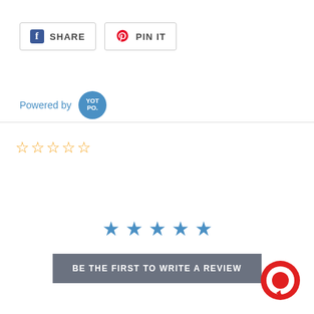[Figure (screenshot): Social share buttons: Facebook SHARE and Pinterest PIN IT]
Powered by YOTPO.
[Figure (other): Five empty star rating icons in yellow/gold outline]
[Figure (other): Five filled blue star icons for rating]
BE THE FIRST TO WRITE A REVIEW
[Figure (logo): Red circular chat/message bubble icon in bottom right corner]